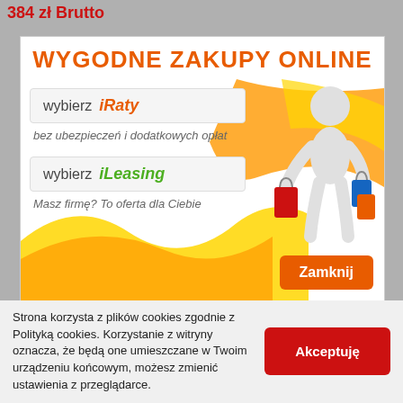384 zł Brutto
[Figure (screenshot): Advertisement banner for online shopping: WYGODNE ZAKUPY ONLINE. Options: wybierz iRaty (bez ubezpieczeń i dodatkowych opłat), wybierz iLeasing (Masz firmę? To oferta dla Ciebie). Orange figure with shopping bags. Zamknij button.]
Strona korzysta z plików cookies zgodnie z Polityką cookies. Korzystanie z witryny oznacza, że będą one umieszczane w Twoim urządzeniu końcowym, możesz zmienić ustawienia z przeglądarce.